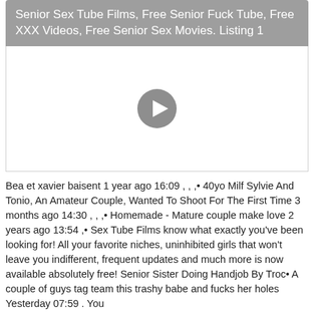Senior Sex Tube Films, Free Senior Fuck Tube, Free XXX Videos, Free Senior Sex Movies. Listing 1
[Figure (other): Video player placeholder with a circular grey play button on white background]
Bea et xavier baisent 1 year ago 16:09 , , ,• 40yo Milf Sylvie And Tonio, An Amateur Couple, Wanted To Shoot For The First Time 3 months ago 14:30 , , ,• Homemade - Mature couple make love 2 years ago 13:54 ,• Sex Tube Films know what exactly you've been looking for! All your favorite niches, uninhibited girls that won't leave you indifferent, frequent updates and much more is now available absolutely free! Senior Sister Doing Handjob By Troc• A couple of guys tag team this trashy babe and fucks her holes Yesterday 07:59 . You